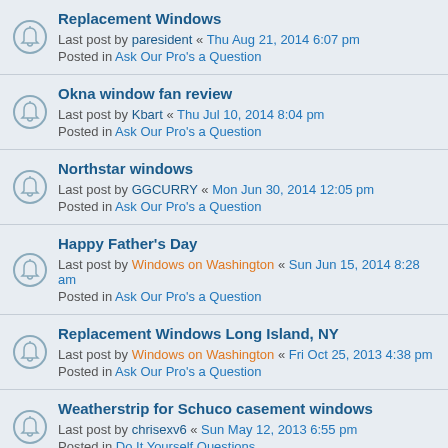Replacement Windows
Last post by paresident « Thu Aug 21, 2014 6:07 pm
Posted in Ask Our Pro's a Question
Okna window fan review
Last post by Kbart « Thu Jul 10, 2014 8:04 pm
Posted in Ask Our Pro's a Question
Northstar windows
Last post by GGCURRY « Mon Jun 30, 2014 12:05 pm
Posted in Ask Our Pro's a Question
Happy Father's Day
Last post by Windows on Washington « Sun Jun 15, 2014 8:28 am
Posted in Ask Our Pro's a Question
Replacement Windows Long Island, NY
Last post by Windows on Washington « Fri Oct 25, 2013 4:38 pm
Posted in Ask Our Pro's a Question
Weatherstrip for Schuco casement windows
Last post by chrisexv6 « Sun May 12, 2013 6:55 pm
Posted in Do It Yourself Questions